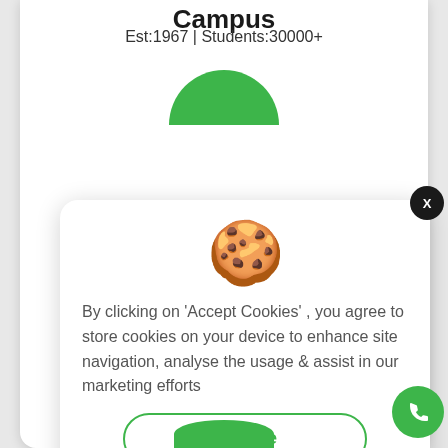Campus
Est:1967 | Students:30000+
[Figure (screenshot): Cookie consent modal dialog with chocolate chip cookie emoji, Decline button (outlined green), Accept Cookies button (solid green), and X close button]
By clicking on 'Accept Cookies' , you agree to store cookies on your device to enhance site navigation, analyse the usage & assist in our marketing efforts